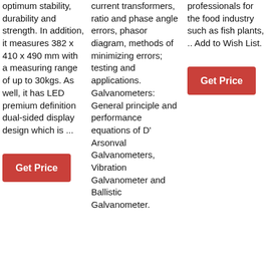optimum stability, durability and strength. In addition, it measures 382 x 410 x 490 mm with a measuring range of up to 30kgs. As well, it has LED premium definition dual-sided display design which is ...
Get Price
current transformers, ratio and phase angle errors, phasor diagram, methods of minimizing errors; testing and applications. Galvanometers: General principle and performance equations of D'Arsonval Galvanometers, Vibration Galvanometer and Ballistic Galvanometer.
professionals for the food industry such as fish plants, .. Add to Wish List.
Get Price